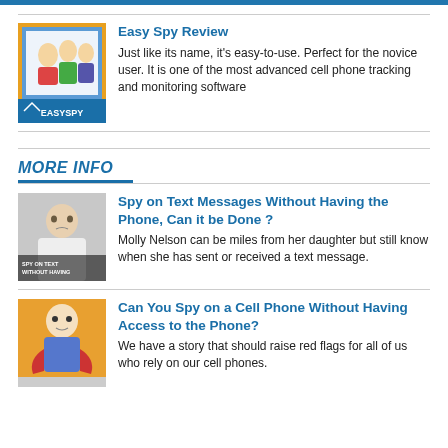[Figure (photo): EasySpy software box with family photo]
Easy Spy Review
Just like its name, it's easy-to-use. Perfect for the novice user. It is one of the most advanced cell phone tracking and monitoring software
MORE INFO
[Figure (photo): Man looking frustrated, spy on text messages article thumbnail]
Spy on Text Messages Without Having the Phone, Can it be Done ?
Molly Nelson can be miles from her daughter but still know when she has sent or received a text message.
[Figure (illustration): Cartoon/illustration of a character, cell phone spy article thumbnail]
Can You Spy on a Cell Phone Without Having Access to the Phone?
We have a story that should raise red flags for all of us who rely on our cell phones.